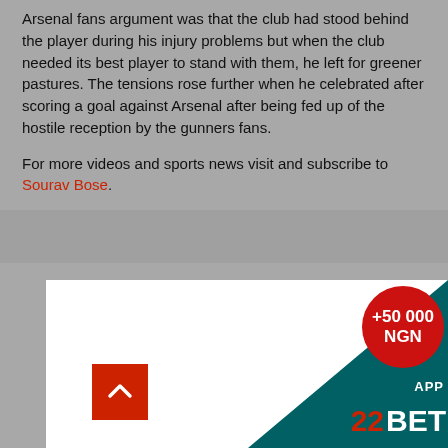Arsenal fans argument was that the club had stood behind the player during his injury problems but when the club needed its best player to stand with them, he left for greener pastures. The tensions rose further when he celebrated after scoring a goal against Arsenal after being fed up of the hostile reception by the gunners fans.
For more videos and sports news visit and subscribe to Sourav Bose.
[Figure (infographic): Advertisement banner for 22BET app showing +50 000 NGN bonus offer, with teal triangle background, red circular badge, scroll-to-top button]